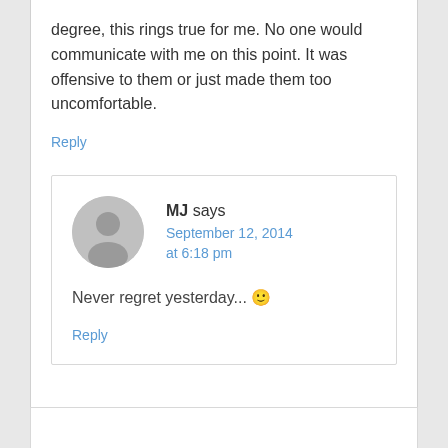degree, this rings true for me. No one would communicate with me on this point. It was offensive to them or just made them too uncomfortable.
Reply
MJ says
September 12, 2014 at 6:18 pm
Never regret yesterday... 🙂
Reply